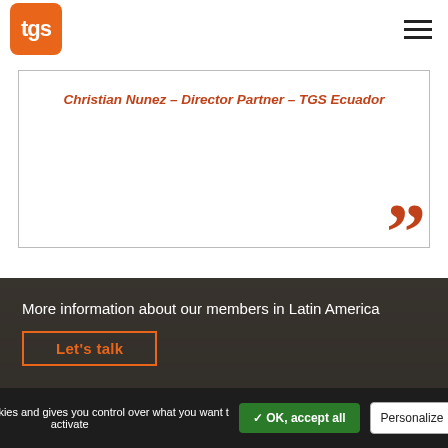[Figure (logo): TGS orange rounded square logo with white 'tgs' text]
Christian Nunez – Director Partner – TGS Ecuador
[Figure (illustration): Large orange closing double quotation mark]
More information about our members in Latin America
Let's talk
This site uses cookies and gives you control over what you want to activate
✓ OK, accept all
Personalize
Privacy policy